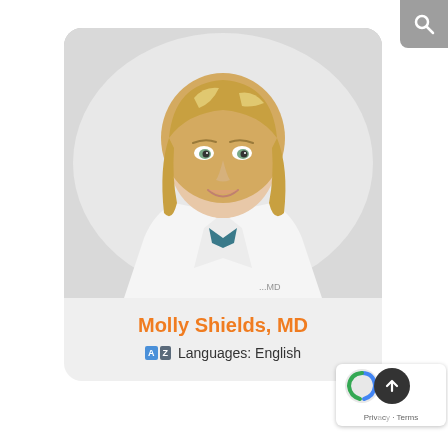[Figure (photo): Professional headshot of Dr. Molly Shields MD, a blonde woman in a white lab coat smiling, on a light background]
Molly Shields, MD
Languages: English